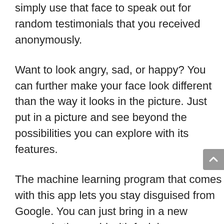simply use that face to speak out for random testimonials that you received anonymously.
Want to look angry, sad, or happy? You can further make your face look different than the way it looks in the picture. Just put in a picture and see beyond the possibilities you can explore with its features.
The machine learning program that comes with this app lets you stay disguised from Google. You can just bring in a new person in the world with facial specifications that no one had ever before.